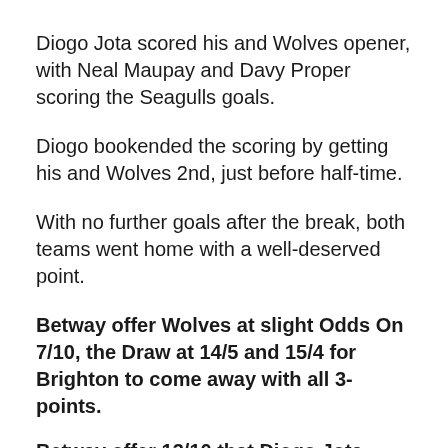Diogo Jota scored his and Wolves opener, with Neal Maupay and Davy Proper scoring the Seagulls goals.
Diogo bookended the scoring by getting his and Wolves 2nd, just before half-time.
With no further goals after the break, both teams went home with a well-deserved point.
Betway offer Wolves at slight Odds On 7/10, the Draw at 14/5 and 15/4 for Brighton to come away with all 3-points.
Betway offer 13/10 that Diogo Jota